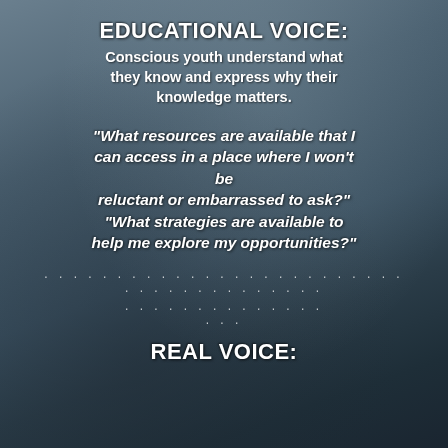EDUCATIONAL VOICE:
Conscious youth understand what they know and express why their knowledge matters.
“What resources are available that I can access in a place where I won’t be reluctant or embarrassed to ask?” “What strategies are available to help me explore my opportunities?”
. . . . . . . . . . . . . . . . . . . . . . . . . . . . . . . . . . . . . . .
. . . . . . . . . . . . . . . . .
REAL VOICE: